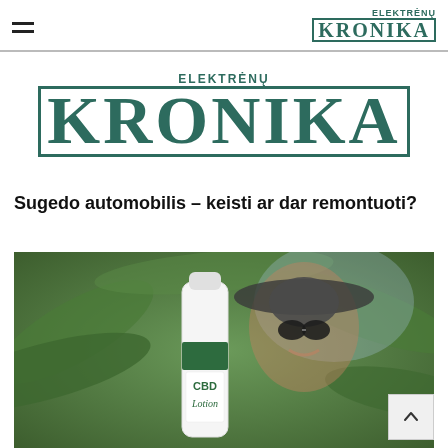Elektrėnų KRONIKA
[Figure (logo): Elektrėnų KRONIKA large masthead logo in teal/dark green serif lettering]
Sugedo automobilis – keisti ar dar remontuoti?
[Figure (photo): A woman wearing sunglasses and a wide-brim hat holding a white bottle of CBD Lotion in front of green tropical leaves]